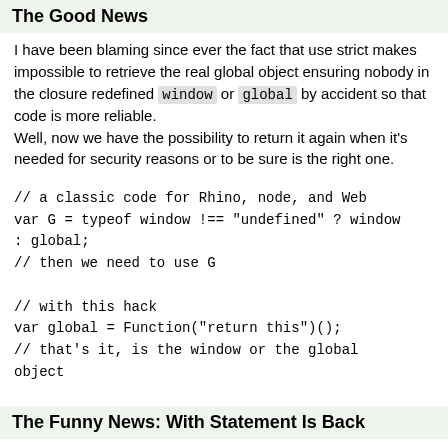The Good News
I have been blaming since ever the fact that use strict makes impossible to retrieve the real global object ensuring nobody in the closure redefined window or global by accident so that code is more reliable.
Well, now we have the possibility to return it again when it's needed for security reasons or to be sure is the right one.
// a classic code for Rhino, node, and Web
var G = typeof window !== "undefined" ? window
: global;
// then we need to use G
// with this hack
var global = Function("return this")();
// that's it, is the window or the global
object
The Funny News: With Statement Is Back
So, we are able to deactivate the "use strict" directive in the global scope, right?